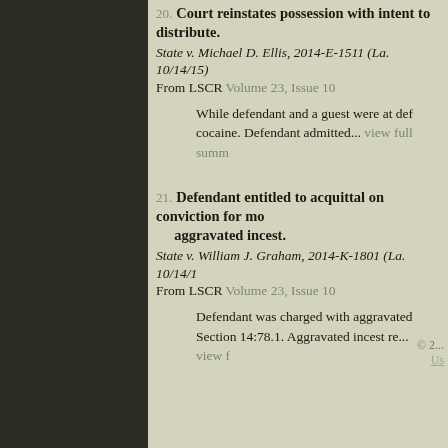20. Court reinstates possession with intent to distribute. State v. Michael D. Ellis, 2014-E-1511 (La. 10/14/15). From LSCR Volume 23, Issue 10. While defendant and a guest were at defendant's home, police found cocaine. Defendant admitted... view full summary
21. Defendant entitled to acquittal on conviction for molestation of a juvenile by aggravated incest. State v. William J. Graham, 2014-K-1801 (La. 10/14/15). From LSCR Volume 23, Issue 10. Defendant was charged with aggravated incest under Louisiana Revised Statute Section 14:78.1. Aggravated incest re... view full summary
© 2... Us...